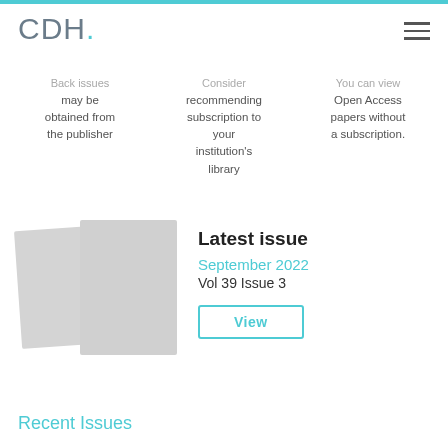CDH.
Back issues may be obtained from the publisher
Consider recommending subscription to your institution's library
You can view Open Access papers without a subscription.
[Figure (illustration): Two overlapping gray magazine/journal cover placeholders]
Latest issue
September 2022
Vol 39 Issue 3
View
Recent Issues